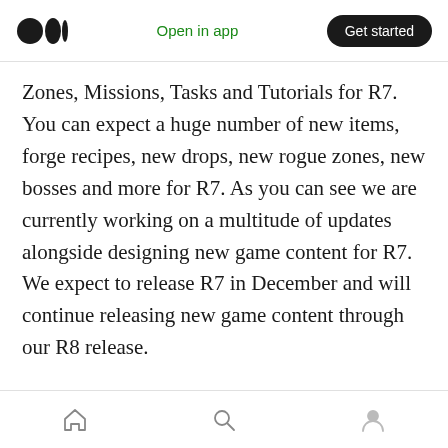Open in app | Get started
Zones, Missions, Tasks and Tutorials for R7. You can expect a huge number of new items, forge recipes, new drops, new rogue zones, new bosses and more for R7. As you can see we are currently working on a multitude of updates alongside designing new game content for R7. We expect to release R7 in December and will continue releasing new game content through our R8 release.
R8 will bring faction gameplay and powerplay. Powerplay brings unique gameplay based on
Home | Search | Profile